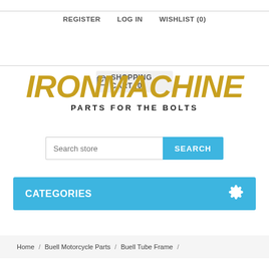REGISTER   LOG IN   WISHLIST (0)
SHOPPING CART (0)
[Figure (logo): IRONMACHINE logo in gold italic bold text with tagline PARTS FOR THE BOLTS in black bold letters below]
Search store | SEARCH
CATEGORIES
Home / Buell Motorcycle Parts / Buell Tube Frame /